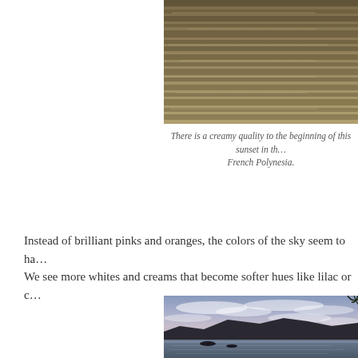[Figure (photo): Close-up of rippling water at sunset with golden-brown tones, cropped top portion of a sunset scene in French Polynesia.]
There is a creamy quality to the beginning of this sunset in th… French Polynesia.
Instead of brilliant pinks and oranges, the colors of the sky seem to ha… We see more whites and creams that become softer hues like lilac or c…
[Figure (photo): Dusk scene with purple-blue sky, wispy clouds, dark silhouetted mountains in the background, calm water in the foreground, and palm fronds visible at top right corner. A tropical lagoon scene likely in French Polynesia.]